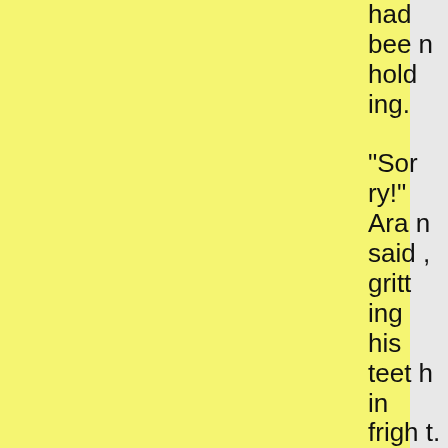[Figure (illustration): Yellow panel on the left side of the page, gray panel in the middle]
had been holding.

“Sorry!” Aran said, gritting his teeth in fright.

“Ugh! We’l